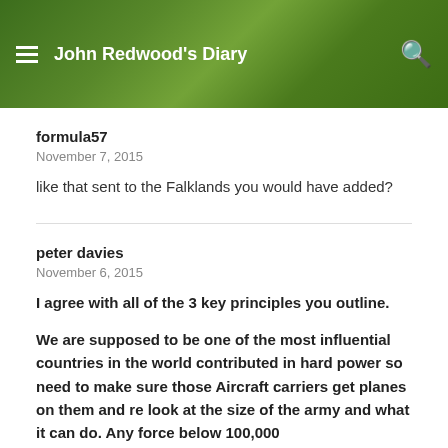John Redwood's Diary
formula57
November 7, 2015
like that sent to the Falklands you would have added?
peter davies
November 6, 2015
I agree with all of the 3 key principles you outline.
We are supposed to be one of the most influential countries in the world contributed in hard power so need to make sure those Aircraft carriers get planes on them and re look at the size of the army and what it can do. Any force below 100,000